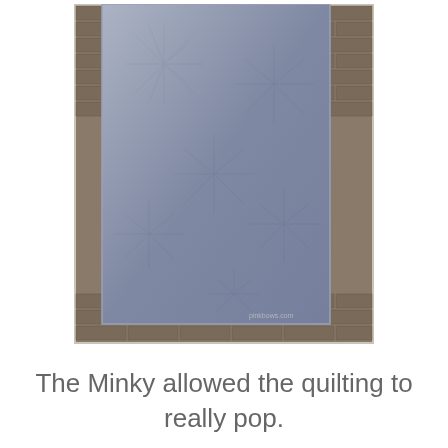[Figure (photo): A blue-grey quilted fabric with a starburst/dandelion pattern, hung against a brick wall background. The quilt appears to have dense quilting that creates a textured sunburst effect on the minky fabric. A watermark 'pinkbows.com' is visible in the bottom right corner.]
The Minky allowed the quilting to really pop.